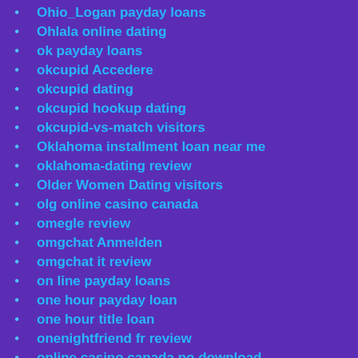Ohio_Logan payday loans
Ohlala online dating
ok payday loans
okcupid Accedere
okcupid dating
okcupid hookup dating
okcupid-vs-match visitors
Oklahoma installment loan near me
oklahoma-dating review
Older Women Dating visitors
olg online casino canada
omegle review
omgchat Anmelden
omgchat it review
on line payday loans
one hour payday loan
one hour title loan
onenightfriend fr review
online casino canada no download
online casino free bonus no deposit canada
online casino games canada
online direct lender installment loans
online instant payday loans